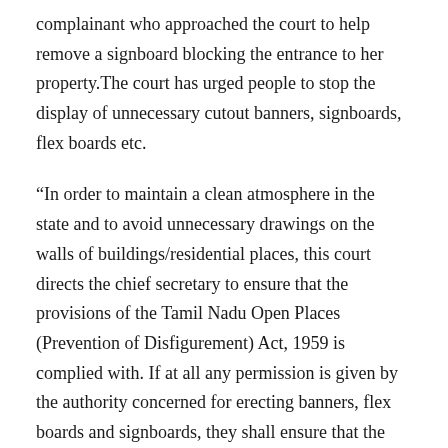complainant who approached the court to help remove a signboard blocking the entrance to her property.The court has urged people to stop the display of unnecessary cutout banners, signboards, flex boards etc.
“In order to maintain a clean atmosphere in the state and to avoid unnecessary drawings on the walls of buildings/residential places, this court directs the chief secretary to ensure that the provisions of the Tamil Nadu Open Places (Prevention of Disfigurement) Act, 1959 is complied with. If at all any permission is given by the authority concerned for erecting banners, flex boards and signboards, they shall ensure that the photographs/pictures of such persons who are alive shall not be depicted on them. It is further directed to ensure that the photographs/pictures of the persons, who are sponsoring such banners, shall also not be depicted,” Justice S Vidyanathan said in his order.
Large banners and signboards featuring politicians and film stars